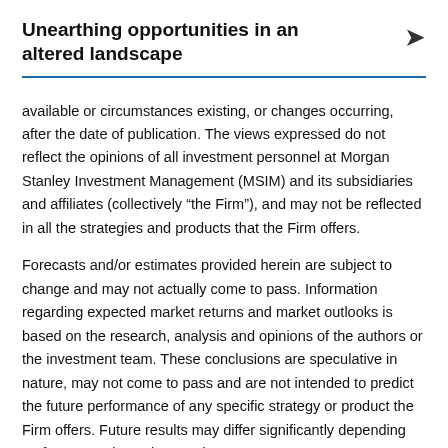Unearthing opportunities in an altered landscape
available or circumstances existing, or changes occurring, after the date of publication. The views expressed do not reflect the opinions of all investment personnel at Morgan Stanley Investment Management (MSIM) and its subsidiaries and affiliates (collectively “the Firm”), and may not be reflected in all the strategies and products that the Firm offers.
Forecasts and/or estimates provided herein are subject to change and may not actually come to pass. Information regarding expected market returns and market outlooks is based on the research, analysis and opinions of the authors or the investment team. These conclusions are speculative in nature, may not come to pass and are not intended to predict the future performance of any specific strategy or product the Firm offers. Future results may differ significantly depending on factors such as changes in